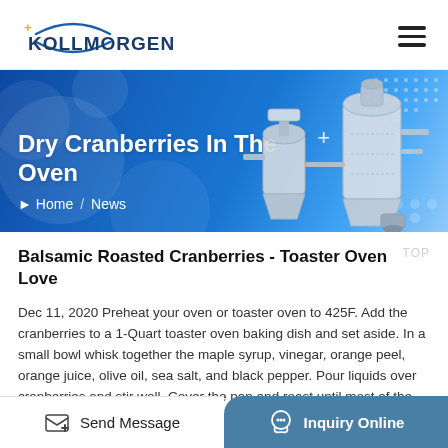KOLLMORGEN
[Figure (screenshot): Blue gradient banner with industrial machinery (evaporator/dryer equipment) on the right side. Title 'Dry Cranberries In The Oven' in white bold text on the left. Breadcrumb navigation 'Home / News' below the title. Decorative dot pattern and plus sign overlay.]
Dry Cranberries In The Oven
Home / News
Balsamic Roasted Cranberries - Toaster Oven Love
Dec 11, 2020 Preheat your oven or toaster oven to 425F. Add the cranberries to a 1-Quart toaster oven baking dish and set aside. In a small bowl whisk together the maple syrup, vinegar, orange peel, orange juice, olive oil, sea salt, and black pepper. Pour liquids over cranberries and stir well. Cover the pan and roast until most of the
Send Message   Inquiry Online